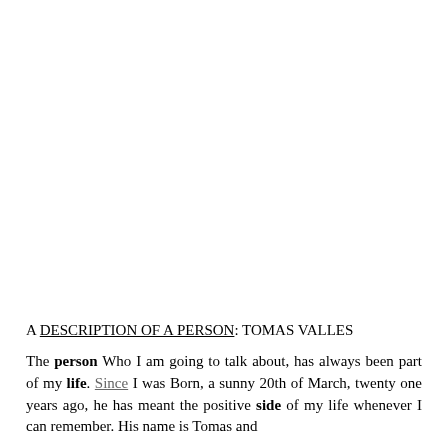A DESCRIPTION OF A PERSON: TOMAS VALLES
The person Who I am going to talk about, has always been part of my life. Since I was Born, a sunny 20th of March, twenty one years ago, he has meant the positive side of my life whenever I can remember. His name is Tomas and